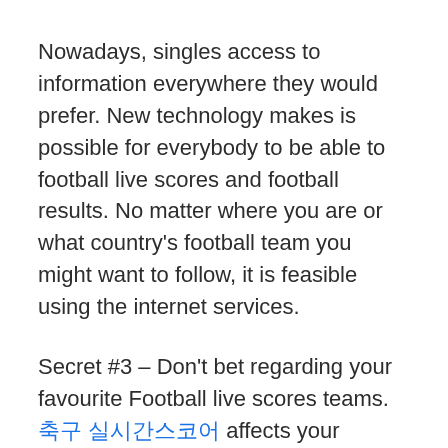Nowadays, singles access to information everywhere they would prefer. New technology makes is possible for everybody to be able to football live scores and football results. No matter where you are or what country's football team you might want to follow, it is feasible using the internet services.
Secret #3 – Don't bet regarding your favourite Football live scores teams. [Korean link] affects your judgment when deciding the wager. Avoid them and instead focus on other less popular teams and make use of the better odds.
Some of the rookies and younger players are